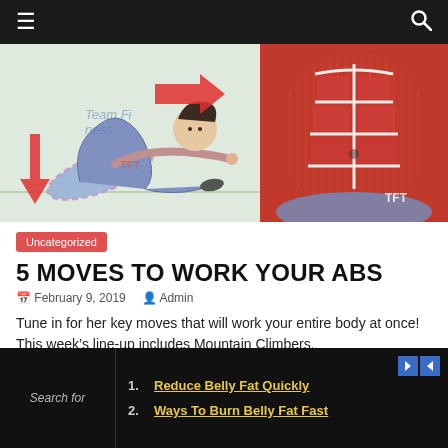Navigation bar with menu and search icons
[Figure (illustration): Split image: left side shows a cartoon illustration of a person doing an ab exercise (lying back, knees bent, arms extended) with red arrows indicating movement direction and 'Team Fitness' watermark; right side shows an anatomical diagram of abdominal muscles highlighted in red with 'TFT' watermark.]
Uncategorized
5 MOVES TO WORK YOUR ABS
February 9, 2019   Admin
Tune in for her key moves that will work your entire body at once! This week's line-up includes Mountain Climbers,
1. Reduce Belly Fat Quickly
2. Ways To Burn Belly Fat Fast